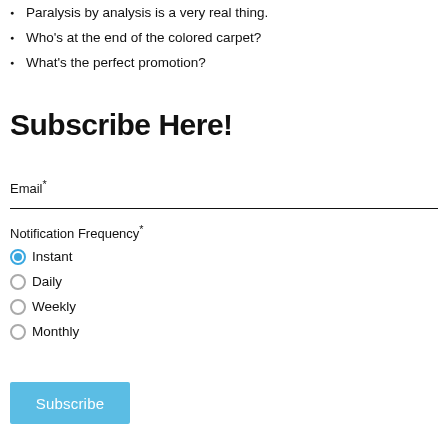Paralysis by analysis is a very real thing.
Who's at the end of the colored carpet?
What's the perfect promotion?
Subscribe Here!
Email*
Notification Frequency*
Instant
Daily
Weekly
Monthly
Subscribe